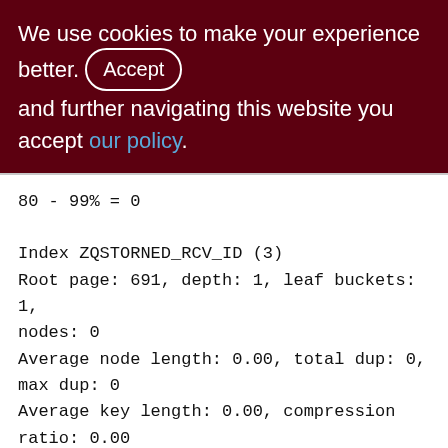We use cookies to make your experience better. By accepting and further navigating this website you accept our policy.
80 - 99% = 0

Index ZQSTORNED_RCV_ID (3)
Root page: 691, depth: 1, leaf buckets: 1, nodes: 0
Average node length: 0.00, total dup: 0, max dup: 0
Average key length: 0.00, compression ratio: 0.00
Average prefix length: 0.00, average data length: 0.00
Clustering factor: 0, ratio: 0.00